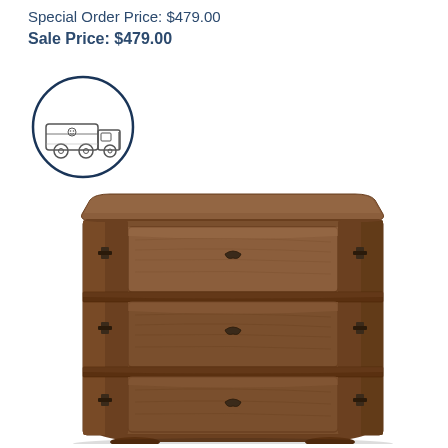Special Order Price: $479.00
Sale Price: $479.00
[Figure (illustration): Circular icon with cartoon delivery truck illustration, outlined in dark navy blue]
[Figure (photo): Wooden three-drawer chest/dresser with dark walnut finish, decorative metal hardware on each drawer, curved front drawers with rounded column sides, ornate molding on top]